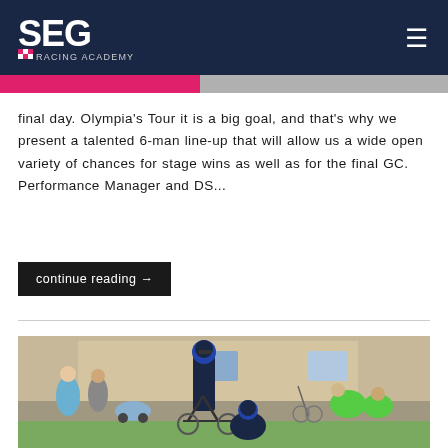SEG Racing Academy
final day. Olympia's Tour it is a big goal, and that's why we present a talented 6-man line-up that will allow us a wide open variety of chances for stage wins as well as for the final GC.  Performance Manager and DS...
continue reading →
[Figure (photo): Cyclists in SEG Racing Academy team kits gathered near a building, with spectators in the background. One cyclist on a bike, another crouching nearby also in team kit and helmet.]